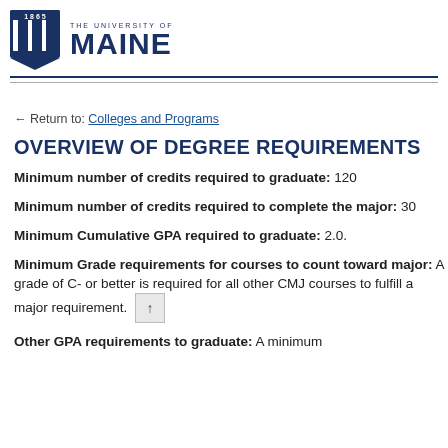THE UNIVERSITY OF MAINE
← Return to: Colleges and Programs
OVERVIEW OF DEGREE REQUIREMENTS
Minimum number of credits required to graduate: 120
Minimum number of credits required to complete the major: 30
Minimum Cumulative GPA required to graduate: 2.0.
Minimum Grade requirements for courses to count toward major: A grade of C- or better is required for all other CMJ courses to fulfill a major requirement.
Other GPA requirements to graduate: A minimum